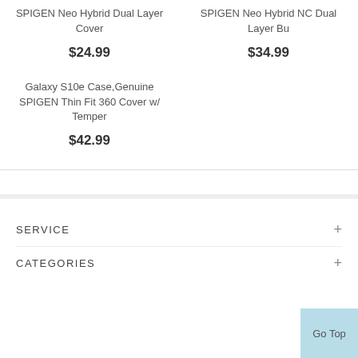SPIGEN Neo Hybrid Dual Layer Cover
$24.99
SPIGEN Neo Hybrid NC Dual Layer Bu
$34.99
Galaxy S10e Case,Genuine SPIGEN Thin Fit 360 Cover w/ Temper
$42.99
SERVICE
CATEGORIES